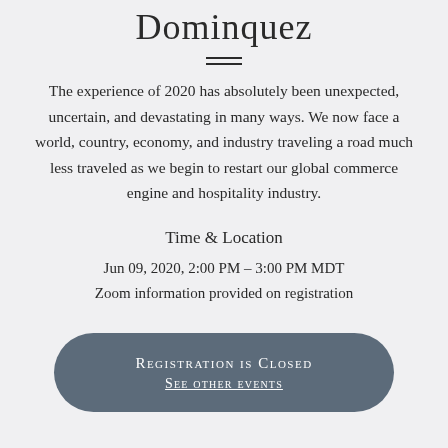Dominquez
The experience of 2020 has absolutely been unexpected, uncertain, and devastating in many ways. We now face a world, country, economy, and industry traveling a road much less traveled as we begin to restart our global commerce engine and hospitality industry.
Time & Location
Jun 09, 2020, 2:00 PM – 3:00 PM MDT
Zoom information provided on registration
Registration is Closed
See other events